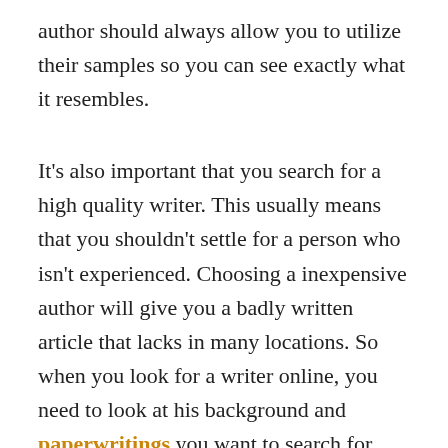author should always allow you to utilize their samples so you can see exactly what it resembles.
It's also important that you search for a high quality writer. This usually means that you shouldn't settle for a person who isn't experienced. Choosing a inexpensive author will give you a badly written article that lacks in many locations. So when you look for a writer online, you need to look at his background and paperwritings you want to search for reviews of that author so that you are able to compare prices and select the best one for your requirements.
Because you can see, there are many internet essay services and much more writing companies